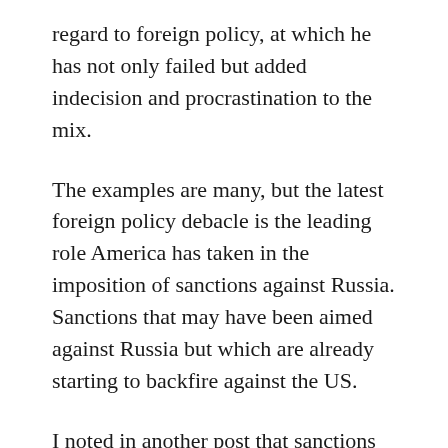regard to foreign policy, at which he has not only failed but added indecision and procrastination to the mix.
The examples are many, but the latest foreign policy debacle is the leading role America has taken in the imposition of sanctions against Russia. Sanctions that may have been aimed against Russia but which are already starting to backfire against the US.
I noted in another post that sanctions have been imposed in regard to Russian oil and natural gas, which Europe (particularly Germany and France) needs, but America doesn’t; but that the sanctions were not